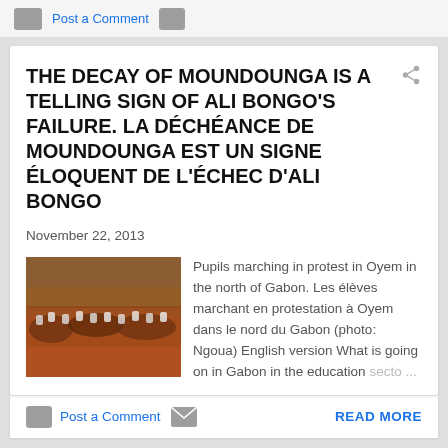Post a Comment
THE DECAY OF MOUNDOUNGA IS A TELLING SIGN OF ALI BONGO'S FAILURE. LA DÉCHÉANCE DE MOUNDOUNGA EST UN SIGNE ÉLOQUENT DE L'ÉCHEC D'ALI BONGO
November 22, 2013
[Figure (photo): Pupils marching in protest in Oyem, north Gabon — crowd of students on a red dirt ground]
Pupils marching in protest in Oyem in the north of Gabon. Les élèves marchant en protestation à Oyem dans le nord du Gabon (photo: Ngoua) English version What is going on in Gabon in the education secto ...
Post a Comment   READ MORE